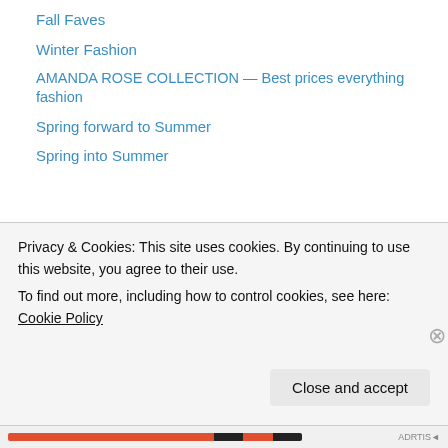Fall Faves
Winter Fashion
AMANDA ROSE COLLECTION — Best prices everything fashion
Spring forward to Summer
Spring into Summer
Recent Comments
MLG Jewelry on Summer Head to Toe Outfit
ratese on Summer Head to Toe Outfit
Privacy & Cookies: This site uses cookies. By continuing to use this website, you agree to their use. To find out more, including how to control cookies, see here: Cookie Policy
Close and accept